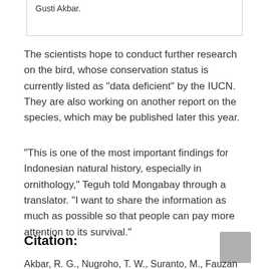Gusti Akbar.
The scientists hope to conduct further research on the bird, whose conservation status is currently listed as “data deficient” by the IUCN. They are also working on another report on the species, which may be published later this year.
“This is one of the most important findings for Indonesian natural history, especially in ornithology,” Teguh told Mongabay through a translator. “I want to share the information as much as possible so that people can pay more attention to its survival.”
Citation:
Akbar, R. G., Nugroho, T. W., Suranto, M., Fauzan